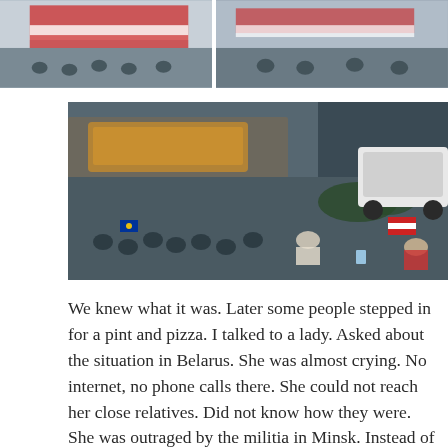[Figure (photo): Two partial photos at top: left shows people with a red-and-white flag (Belarus flag colors), right shows people with flags on a street scene]
[Figure (photo): Aerial/overhead view of protesters on a street intersection at night, some carrying flags including a European Union flag and white-red-white Belarusian opposition flags, a white car is visible on the right]
We knew what it was. Later some people stepped in for a pint and pizza. I talked to a lady. Asked about the situation in Belarus. She was almost crying. No internet, no phone calls there. She could not reach her close relatives. Did not know how they were. She was outraged by the militia in Minsk. Instead of protecting, they were raping people with their nightsticks. She begged for help from Poland or European Union. We do